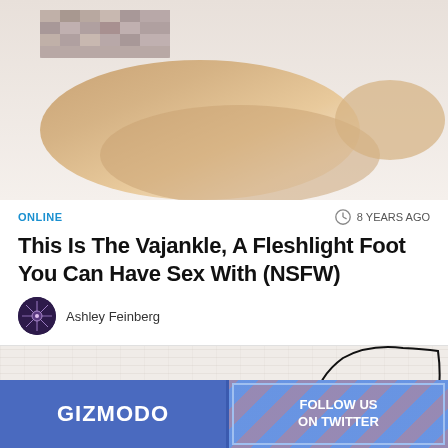[Figure (photo): Close-up photo of a foot/ankle area with pixelated/blurred region at top, skin-toned background]
ONLINE
8 YEARS AGO
This Is The Vajankle, A Fleshlight Foot You Can Have Sex With (NSFW)
Ashley Feinberg
[Figure (illustration): A technical/patent-style line drawing showing a side profile of a face, labeled 'Fig. 1']
[Figure (other): Gizmodo advertisement banner: 'GIZMODO' on left, 'FOLLOW US ON TWITTER' on right with colorful striped pattern]